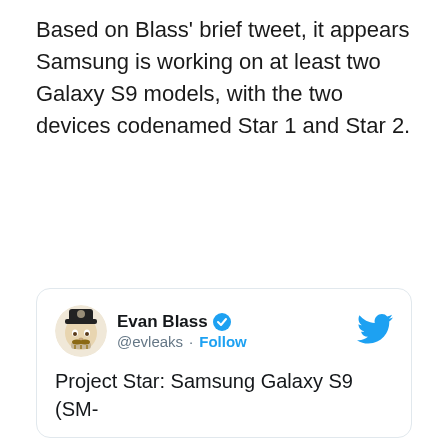Based on Blass' brief tweet, it appears Samsung is working on at least two Galaxy S9 models, with the two devices codenamed Star 1 and Star 2.
[Figure (screenshot): Embedded tweet card from Evan Blass (@evleaks) with a Follow button, verified badge, Twitter bird icon, and partial tweet text: 'Project Star: Samsung Galaxy S9 (SM-']